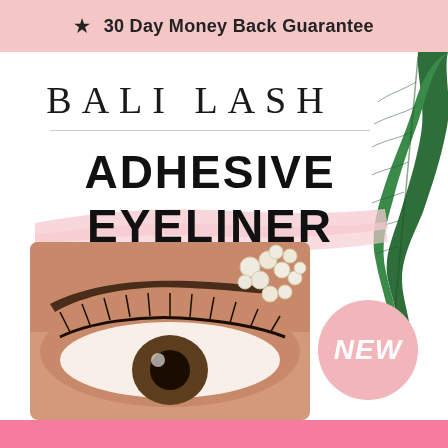★ 30 Day Money Back Guarantee
BALI LASH
ADHESIVE EYELINER
[Figure (illustration): Tropical green monstera leaf partially visible at top right corner]
[Figure (photo): Close-up of a woman's eye with long lashes and pearl earring hair accessory]
NEW